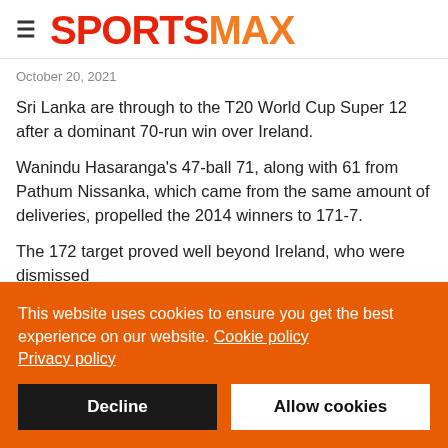SPORTSMAX
October 20, 2021
Sri Lanka are through to the T20 World Cup Super 12 after a dominant 70-run win over Ireland.
Wanindu Hasaranga's 47-ball 71, along with 61 from Pathum Nissanka, which came from the same amount of deliveries, propelled the 2014 winners to 171-7.
The 172 target proved well beyond Ireland, who were dismissed for 101 with nine balls left. Hasaranga also taking a wicket and
This website uses cookies to ensure you get the best experience on our website. Cookie policy
Privacy policy
Decline
Allow cookies